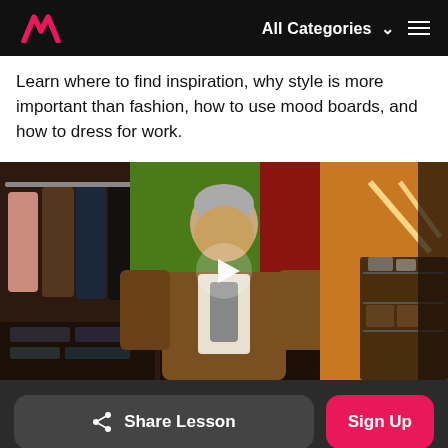MasterClass — All Categories
Learn where to find inspiration, why style is more important than fashion, how to use mood boards, and how to dress for work.
[Figure (screenshot): Video thumbnail showing a man in a brown blazer sitting in a stylish wardrobe/clothing studio with colorful backdrops and a play button overlay]
Share Lesson | Sign Up | 4.7 out of 5 stars